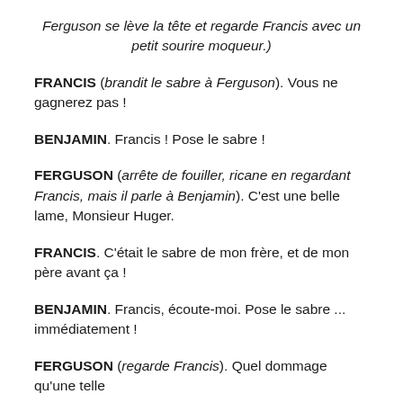Ferguson se lève la tête et regarde Francis avec un petit sourire moqueur.)
FRANCIS (brandit le sabre à Ferguson). Vous ne gagnerez pas !
BENJAMIN. Francis ! Pose le sabre !
FERGUSON (arrête de fouiller, ricane en regardant Francis, mais il parle à Benjamin). C'est une belle lame, Monsieur Huger.
FRANCIS. C'était le sabre de mon frère, et de mon père avant ça !
BENJAMIN. Francis, écoute-moi. Pose le sabre ... immédiatement !
FERGUSON (regarde Francis). Quel dommage qu'une telle